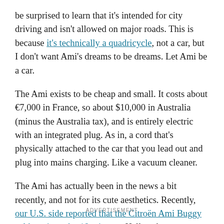be surprised to learn that it's intended for city driving and isn't allowed on major roads. This is because it's technically a quadricycle, not a car, but I don't want Ami's dreams to be dreams. Let Ami be a car.
The Ami exists to be cheap and small. It costs about €7,000 in France, so about $10,000 in Australia (minus the Australia tax), and is entirely electric with an integrated plug. As in, a cord that's physically attached to the car that you lead out and plug into mains charging. Like a vacuum cleaner.
The Ami has actually been in the news a bit recently, and not for its cute aesthetics. Recently, our U.S. side reported that the Citroën Ami Buggy sold out in under 18 minutes. Hell yeah, power to the Ami.
ADVERTISEMENT